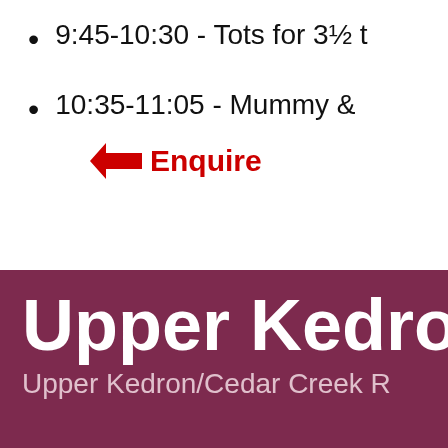9:45-10:30 - Tots for 3½ t
10:35-11:05 - Mummy &
← Enquire
Upper Kedro
Upper Kedron/Cedar Creek R